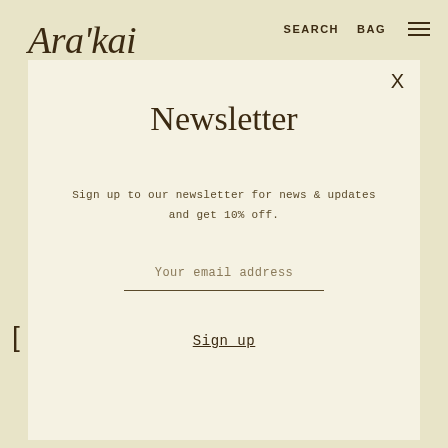Ara'kai   SEARCH   BAG   ☰
Newsletter
Sign up to our newsletter for news & updates and get 10% off.
Your email address
Sign up
JOSH ROSEBROOK
LESSE